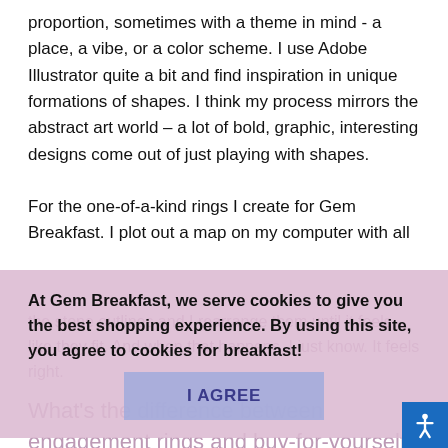proportion, sometimes with a theme in mind - a place, a vibe, or a color scheme. I use Adobe Illustrator quite a bit and find inspiration in unique formations of shapes. I think my process mirrors the abstract art world – a lot of bold, graphic, interesting designs come out of just playing with shapes.
For the one-of-a-kind rings I create for Gem Breakfast. I plot out a map on my computer with all
the stone outlines and I rearrange them until it feels like they fit. And when that happens, I just know. It feels right.
At Gem Breakfast, we serve cookies to give you the best shopping experience. By using this site, you agree to cookies for breakfast!
What's the difference between engagement rings and buy-for-yourself rings?